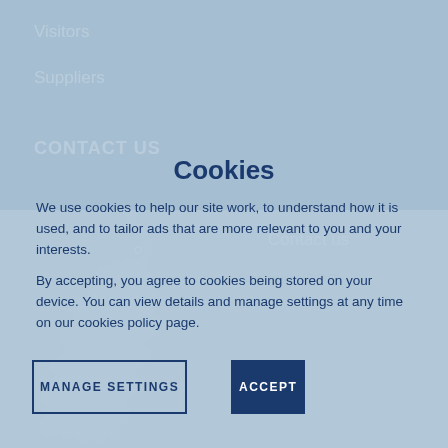Visitors
Suppliers
CONTACT US
Contact us
Site map (PDF)
[Figure (map): Outline map of Great Britain and Scotland in white on dark blue background]
Cookies
We use cookies to help our site work, to understand how it is used, and to tailor ads that are more relevant to you and your interests.
By accepting, you agree to cookies being stored on your device. You can view details and manage settings at any time on our cookies policy page.
MANAGE SETTINGS
ACCEPT